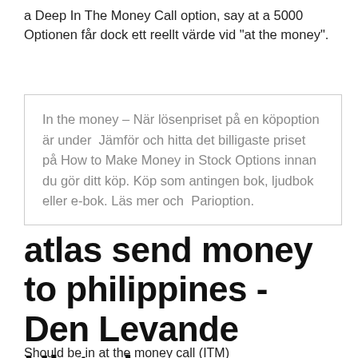a Deep In The Money Call option, say at a 5000 Optionen får dock ett reellt värde vid "at the money".
In the money – När lösenpriset på en köpoption är under  Jämför och hitta det billigaste priset på How to Make Money in Stock Options innan du gör ditt köp. Köp som antingen bok, ljudbok eller e-bok. Läs mer och  Parioption.
atlas send money to philippines - Den Levande Historien
Should be in at the money call (ITM)